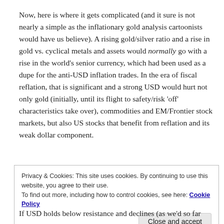Now, here is where it gets complicated (and it sure is not nearly a simple as the inflationary gold analysis cartoonists would have us believe). A rising gold/silver ratio and a rise in gold vs. cyclical metals and assets would normally go with a rise in the world's senior currency, which had been used as a dupe for the anti-USD inflation trades. In the era of fiscal reflation, that is significant and a strong USD would hurt not only gold (initially, until its flight to safety/risk 'off' characteristics take over), commodities and EM/Frontier stock markets, but also US stocks that benefit from reflation and its weak dollar component.
Privacy & Cookies: This site uses cookies. By continuing to use this website, you agree to their use. To find out more, including how to control cookies, see here: Cookie Policy
If USD holds below resistance and declines (as we'd so far